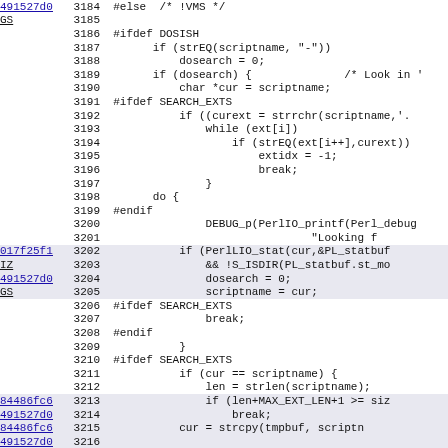[Figure (screenshot): Source code viewer showing C/Perl source code lines 3184-3215 with line numbers, memory addresses as hyperlinks, and syntax-highlighted code content]